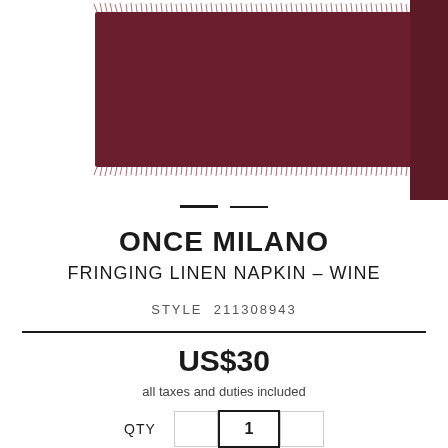[Figure (photo): Dark wine/burgundy colored fringing linen napkin product photo on white background, with a side color swatch strip on the right edge]
ONCE MILANO
FRINGING LINEN NAPKIN – WINE
STYLE  211308943
US$30
all taxes and duties included
QTY  1